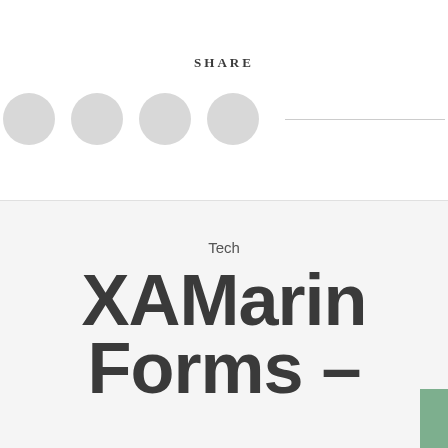SHARE
[Figure (infographic): Four gray circles representing social share icons, followed by a horizontal gray line]
Tech
XAMarin Forms –